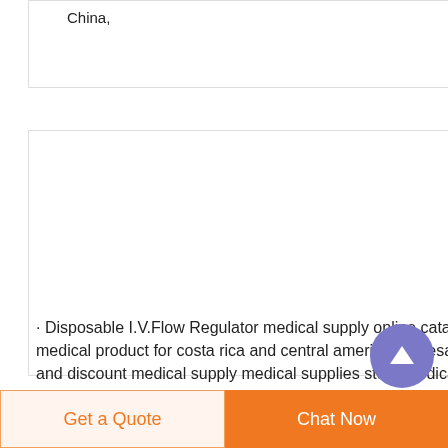China,
[Figure (logo): IV flow regulator product logo with blue drip icon]
Disposable I.V.Flow Regulator medical supply online
· Disposable I.V.Flow Regulator medical supply online catalog medical product for costa rica and central america wholesale and discount medical supply medical supplies store medical equipment